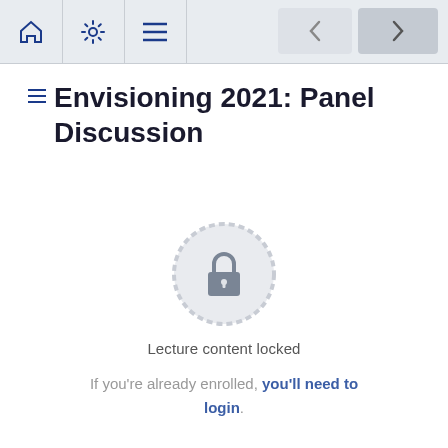Navigation bar with home, settings, menu icons and prev/next buttons
Envisioning 2021: Panel Discussion
[Figure (illustration): Circular badge/seal icon with a lock symbol in the center, rendered in light gray]
Lecture content locked
If you're already enrolled, you'll need to login.